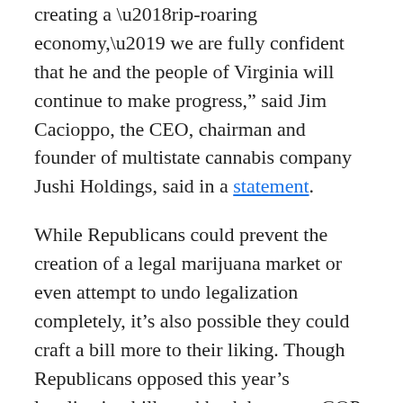creating a ‘rip-roaring economy,’ we are fully confident that he and the people of Virginia will continue to make progress,” said Jim Cacioppo, the CEO, chairman and founder of multistate cannabis company Jushi Holdings, said in a statement.
While Republicans could prevent the creation of a legal marijuana market or even attempt to undo legalization completely, it’s also possible they could craft a bill more to their liking. Though Republicans opposed this year’s legalization bill, pushback by many GOP lawmakers centered on particular provisions, such a change by Northam that would’ve allowed regulators to revoke a company’s business license if it interfered with union organizing efforts or failed to pay prevailing wage.
The advocacy group Marijuana Justice, which opposed the Democrats’ legalization plan earlier this year on